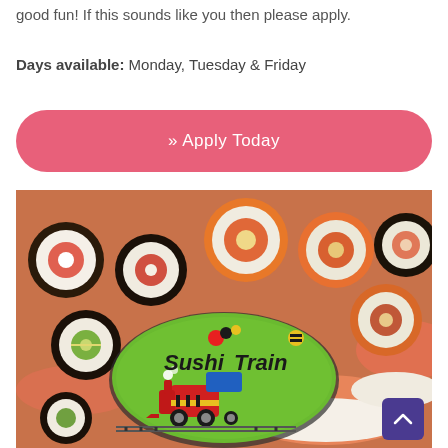good fun! If this sounds like you then please apply.
Days available: Monday, Tuesday & Friday
[Figure (other): Pink rounded button with text '» Apply Today']
[Figure (photo): Photo of assorted sushi rolls and nigiri pieces with a Sushi Train logo (green oval with cartoon train) overlaid in the center. A purple back-to-top arrow button is in the bottom-right corner.]